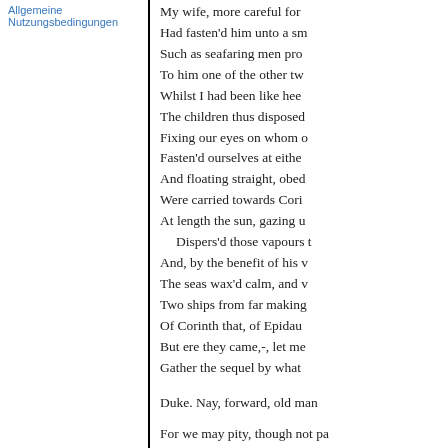Allgemeine Nutzungsbedingungen
My wife, more careful for
Had fasten'd him unto a sm
Such as seafaring men pro
To him one of the other tw
Whilst I had been like hee
The children thus disposed
Fixing our eyes on whom o
Fasten'd ourselves at eithe
And floating straight, obed
Were carried towards Cori
At length the sun, gazing u
  Dispers'd those vapours t
And, by the benefit of his v
The seas wax'd calm, and v
Two ships from far making
Of Corinth that, of Epidau
But ere they came,-, let me
Gather the sequel by what

Duke. Nay, forward, old man

For we may pity, though not pa

  Ege. O, had the gods done so
could meet by twice five league